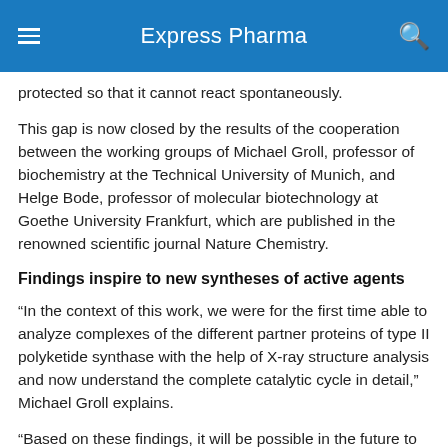Express Pharma
protected so that it cannot react spontaneously.
This gap is now closed by the results of the cooperation between the working groups of Michael Groll, professor of biochemistry at the Technical University of Munich, and Helge Bode, professor of molecular biotechnology at Goethe University Frankfurt, which are published in the renowned scientific journal Nature Chemistry.
Findings inspire to new syntheses of active agents
“In the context of this work, we were for the first time able to analyze complexes of the different partner proteins of type II polyketide synthase with the help of X-ray structure analysis and now understand the complete catalytic cycle in detail,” Michael Groll explains.
“Based on these findings, it will be possible in the future to manipulate the central biochemical processes in a targeted manner and thereby enhance the basic structural motif of being